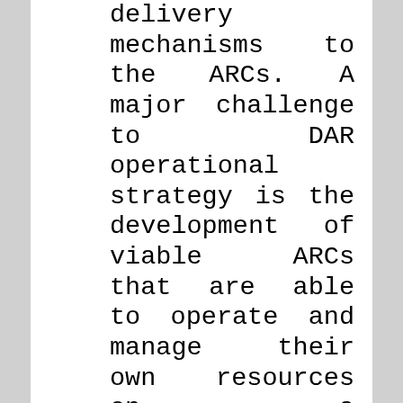delivery mechanisms to the ARCs. A major challenge to DAR operational strategy is the development of viable ARCs that are able to operate and manage their own resources on a sustainable basis. The FSD approach has proven to be an effective and appropriate strategy in the preparation and implementation of